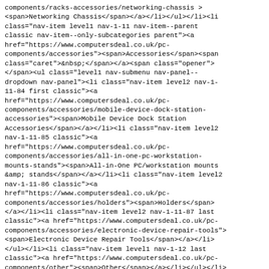components/racks-accessories/networking-chassis ><span>Networking Chassis</span></a></li></ul></li><li class="nav-item level1 nav-1-11 nav-item--parent classic nav-item--only-subcategories parent"><a href="https://www.computersdeal.co.uk/pc-components/accessories"><span>Accessories</span><span class="caret">&nbsp;</span></a><span class="opener"></span><ul class="level1 nav-submenu nav-panel--dropdown nav-panel"><li class="nav-item level2 nav-1-11-84 first classic"><a href="https://www.computersdeal.co.uk/pc-components/accessories/mobile-device-dock-station-accessories"><span>Mobile Device Dock Station Accessories</span></a></li><li class="nav-item level2 nav-1-11-85 classic"><a href="https://www.computersdeal.co.uk/pc-components/accessories/all-in-one-pc-workstation-mounts-stands"><span>All-in-One PC/workstation mounts &amp; stands</span></a></li><li class="nav-item level2 nav-1-11-86 classic"><a href="https://www.computersdeal.co.uk/pc-components/accessories/holders"><span>Holders</span></a></li><li class="nav-item level2 nav-1-11-87 last classic"><a href="https://www.computersdeal.co.uk/pc-components/accessories/electronic-device-repair-tools"><span>Electronic Device Repair Tools</span></a></li></ul></li><li class="nav-item level1 nav-1-12 last classic"><a href="https://www.computersdeal.co.uk/pc-components/other"><span>Other</span></a></li></ul></li><li class="nav-item level0 nav-2 level-top nav-item--parent classic nav-item--only-subcategories parent"><a